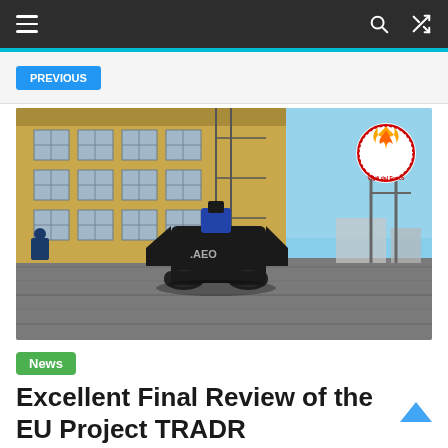Navigation bar with hamburger menu, search and shuffle icons
[Figure (photo): A tracked ground robot labeled 'AEO' on a gravel surface in front of a yellow industrial building with large windows, under a blue sky. A 'Vigili del Fuoco' (Italian fire brigade) circular logo badge appears in the upper right corner of the image.]
News
Excellent Final Review of the EU Project TRADR